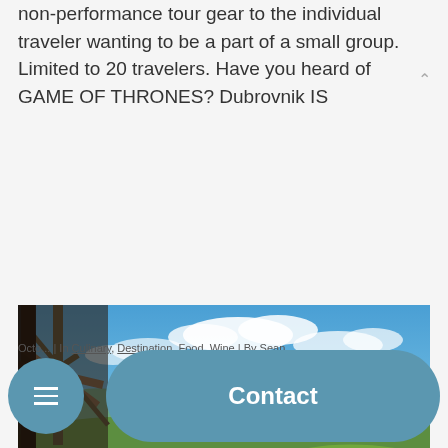non-performance tour gear to the individual traveler wanting to be a part of a small group. Limited to 20 travelers. Have you heard of GAME OF THRONES? Dubrovnik IS
[Figure (other): Button labeled READ MORE with gray background]
[Figure (photo): Scenic vineyard landscape with rolling green hills, rows of grapevines, blue sky with clouds, and a wooden structure in the foreground left]
Octo... | In Culinary, Destination, Food, Wine | By Sean
[Figure (other): Hamburger menu button (circular, steel blue) and Contact button (pill-shaped, steel blue)]